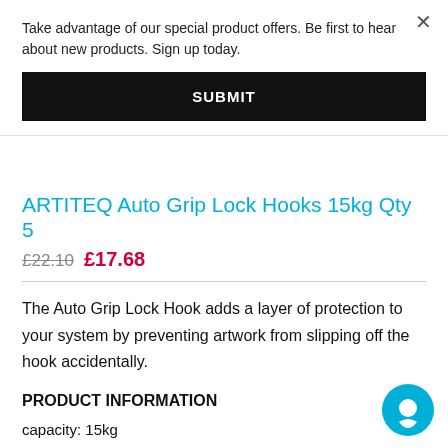Take advantage of our special product offers. Be first to hear about new products. Sign up today.
SUBMIT
ARTITEQ Auto Grip Lock Hooks 15kg Qty 5
£22.10  £17.68
The Auto Grip Lock Hook adds a layer of protection to your system by preventing artwork from slipping off the hook accidentally.
PRODUCT INFORMATION
capacity: 15kg
compatibility: 2mm wires
dimensions: 35mm(H) 10mm(W) 20mm(D)
type: auto-locking